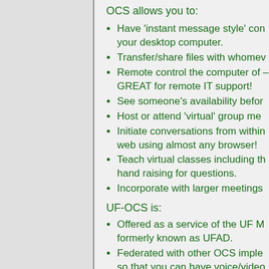OCS allows you to:
Have 'instant message style' conversations from your desktop computer.
Transfer/share files with whomever you like.
Remote control the computer of another person – GREAT for remote IT support!
See someone's availability before calling them.
Host or attend 'virtual' group meetings.
Initiate conversations from within Outlook or the web using almost any browser!
Teach virtual classes including the ability to do hand raising for questions.
Incorporate with larger meetings.
UF-OCS is:
Offered as a service of the UF M formerly known as UFAD.
Federated with other OCS implementations so that you can have voice/video...
Integrated with many other Microsoft applications you're already familiar with.
Capable of working from just about any connection on a Delta flight some...